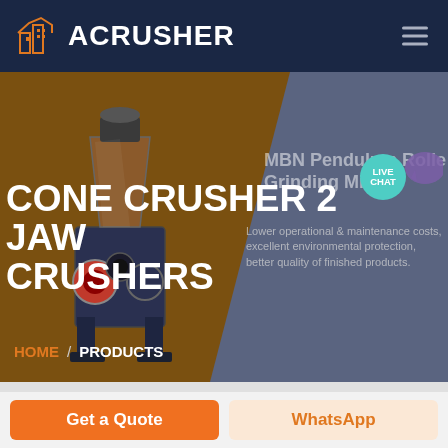ACRUSHER
[Figure (screenshot): Website screenshot of ACrusher product page showing cone crusher and jaw crushers with hero section, navigation, product info panel with MBN Pendulum Roller Grinding Mill text, live chat button, and bottom action buttons]
CONE CRUSHER 2 JAW CRUSHERS
MBN Pendulum Roller Grinding Mill
Lower operational & maintenance costs, excellent environmental protection, better quality of finished products.
HOME / PRODUCTS
Get a Quote
WhatsApp